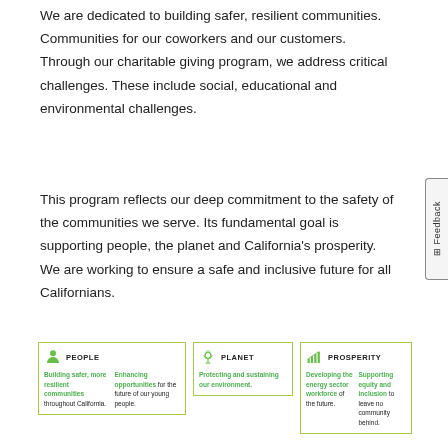We are dedicated to building safer, resilient communities. Communities for our coworkers and our customers. Through our charitable giving program, we address critical challenges. These include social, educational and environmental challenges.
This program reflects our deep commitment to the safety of the communities we serve. Its fundamental goal is supporting people, the planet and California's prosperity. We are working to ensure a safe and inclusive future for all Californians.
[Figure (infographic): Three-panel infographic with icons and text covering People, Planet, and Prosperity. People panel: Building safer, more resilient communities throughout California. Enhancing opportunities for the future of our young people. Planet panel: Protecting and sustaining our environment. Prosperity panel: Developing the energy sector workforce of the future. Supporting equity and inclusion to leave no community behind.]